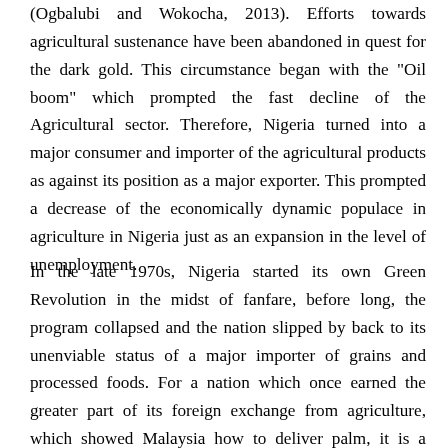(Ogbalubi and Wokocha, 2013). Efforts towards agricultural sustenance have been abandoned in quest for the dark gold. This circumstance began with the "Oil boom" which prompted the fast decline of the Agricultural sector. Therefore, Nigeria turned into a major consumer and importer of the agricultural products as against its position as a major exporter. This prompted a decrease of the economically dynamic populace in agriculture in Nigeria just as an expansion in the level of unemployment.
In the late 1970s, Nigeria started its own Green Revolution in the midst of fanfare, before long, the program collapsed and the nation slipped by back to its unenviable status of a major importer of grains and processed foods. For a nation which once earned the greater part of its foreign exchange from agriculture, which showed Malaysia how to deliver palm, it is a dismal incongruity, that, the Nigeria Green